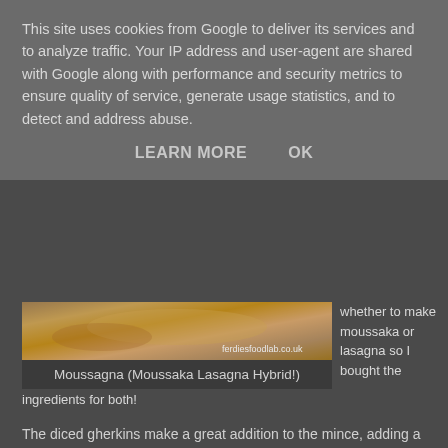This site uses cookies from Google to deliver its services and to analyze traffic. Your IP address and user-agent are shared with Google along with performance and security metrics to ensure quality of service, generate usage statistics, and to detect and address abuse.
LEARN MORE    OK
[Figure (photo): Food photo of Moussagna dish with watermark ferdiesfoodlab.co.uk]
Moussagna (Moussaka Lasagna Hybrid!)
whether to make moussaka or lasagna so I bought the ingredients for both!
The diced gherkins make a great addition to the mince, adding a nice texture and a little sharpness which balances the fat from the mince!
This recipe does have a some meat, but considering the size of the dish it's not much. A touch of veggie mince would make this a top veggie dish.
* cooking
prep time  45-60m